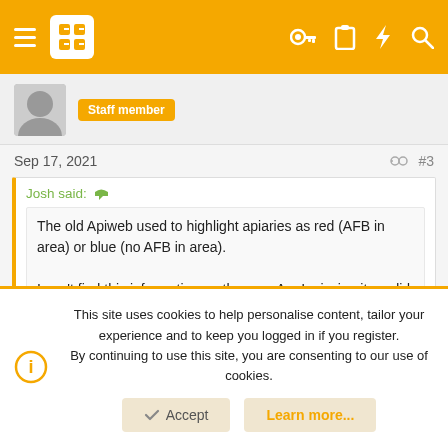Navigation bar with hamburger menu, logo, and icons
Staff member
Sep 17, 2021  #3
Josh said: ↩
The old Apiweb used to highlight apiaries as red (AFB in area) or blue (no AFB in area).

I can't find this information on the app. Am I missing it, or did they phase this out?
On the My Apiaries tab, there is a Risk High section under the list of
This site uses cookies to help personalise content, tailor your experience and to keep you logged in if you register.
By continuing to use this site, you are consenting to our use of cookies.